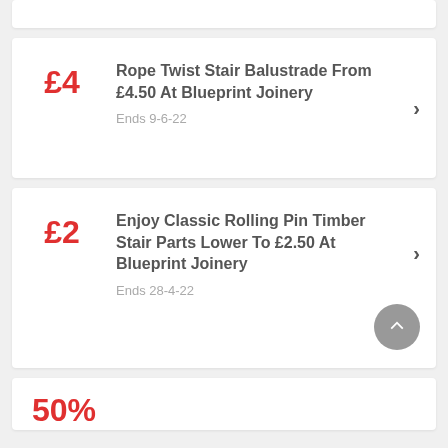£4 — Rope Twist Stair Balustrade From £4.50 At Blueprint Joinery — Ends 9-6-22
£2 — Enjoy Classic Rolling Pin Timber Stair Parts Lower To £2.50 At Blueprint Joinery — Ends 28-4-22
50% (partial, cut off)